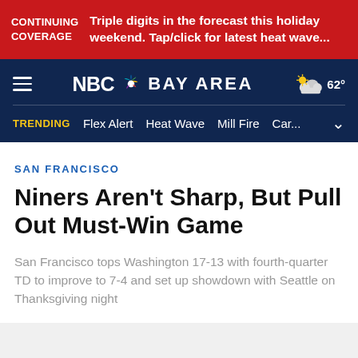CONTINUING COVERAGE:  Triple digits in the forecast this holiday weekend. Tap/click for latest heat wave...
[Figure (screenshot): NBC Bay Area navigation bar with hamburger menu, NBC peacock logo, Bay Area wordmark, weather icon showing 62 degrees, trending bar with Flex Alert, Heat Wave, Mill Fire, Car...]
SAN FRANCISCO
Niners Aren't Sharp, But Pull Out Must-Win Game
San Francisco tops Washington 17-13 with fourth-quarter TD to improve to 7-4 and set up showdown with Seattle on Thanksgiving night